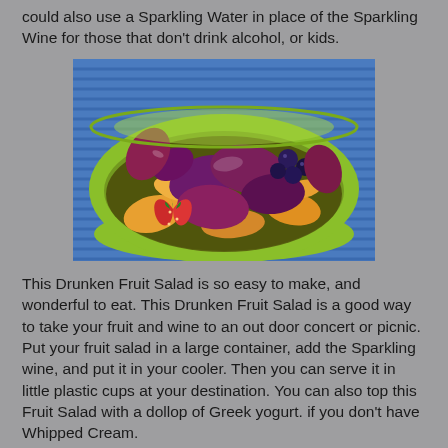could also use a Sparkling Water in place of the Sparkling Wine for those that don't drink alcohol, or kids.
[Figure (photo): A green bowl filled with a colorful fruit salad including strawberries, plums, blueberries, and peach slices, placed on a blue textured surface.]
This Drunken Fruit Salad is so easy to make, and wonderful to eat. This Drunken Fruit Salad is a good way to take your fruit and wine to an out door concert or picnic. Put your fruit salad in a large container, add the Sparkling wine, and put it in your cooler.  Then you can serve it in little plastic cups at your destination. You can also top this Fruit Salad with a dollop of Greek yogurt. if you don't have Whipped Cream.